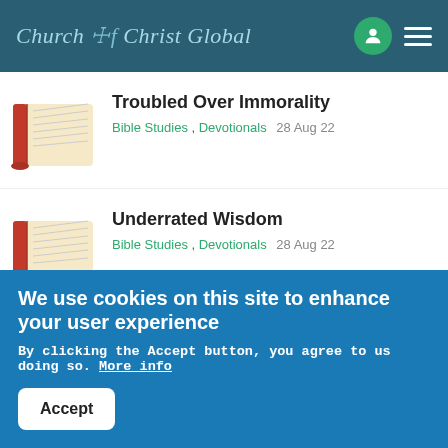Church of Christ Global
Troubled Over Immorality — Bible Studies, Devotionals — 28 Aug 22
Underrated Wisdom — Bible Studies, Devotionals — 28 Aug 22
Congregational Discipline
We use cookies on this site to enhance your user experience
By clicking the Accept button, you agree to us doing so. More info
Accept